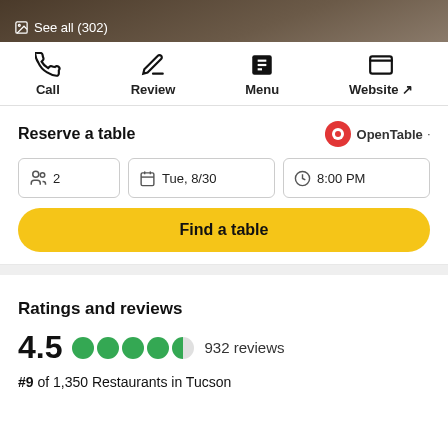[Figure (screenshot): Top dark image strip with 'See all (302)' text and photo icon]
Call
Review
Menu
Website ↗
Reserve a table
OpenTable
2  Tue, 8/30  8:00 PM
Find a table
Ratings and reviews
4.5  932 reviews
#9 of 1,350 Restaurants in Tucson